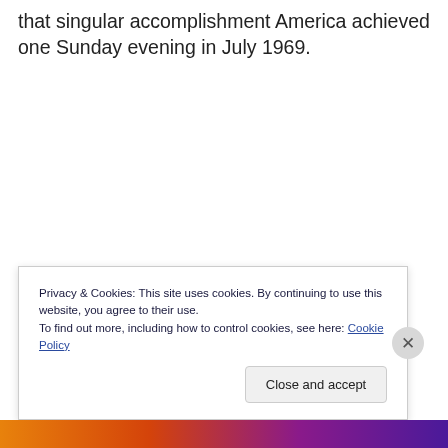that singular accomplishment America achieved one Sunday evening in July 1969.
Privacy & Cookies: This site uses cookies. By continuing to use this website, you agree to their use.
To find out more, including how to control cookies, see here: Cookie Policy